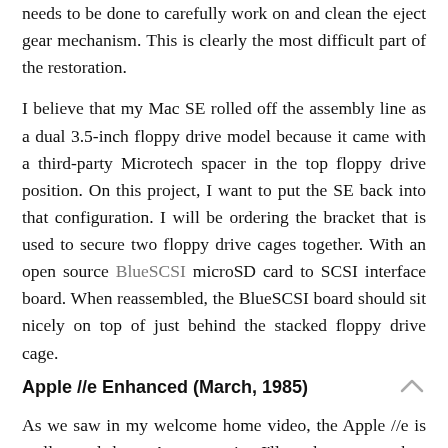needs to be done to carefully work on and clean the eject gear mechanism. This is clearly the most difficult part of the restoration.
I believe that my Mac SE rolled off the assembly line as a dual 3.5-inch floppy drive model because it came with a third-party Microtech spacer in the top floppy drive position. On this project, I want to put the SE back into that configuration. I will be ordering the bracket that is used to secure two floppy drive cages together. With an open source BlueSCSI microSD card to SCSI interface board. When reassembled, the BlueSCSI board should sit nicely on top of just behind the stacked floppy drive cage.
Apple //e Enhanced (March, 1985)
As we saw in my welcome home video, the Apple //e is really good shape. At some point, I'll need to remove the